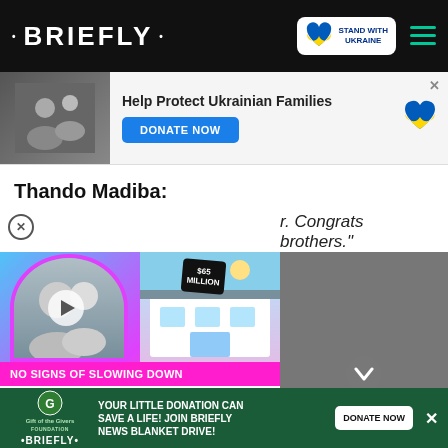BRIEFLY
[Figure (screenshot): Advertisement banner: Help Protect Ukrainian Families with DONATE NOW button and Ukrainian heart flag icon]
Thando Madiba:
Congrats brothers."
[Figure (screenshot): Video card overlay showing NO SIGNS OF SLOWING DOWN with $65 Million price tag, pink circle frame with people thumbnail, play button, and chevron down button]
[Figure (screenshot): Bottom advertisement: YOUR LITTLE DONATION CAN SAVE A LIFE! JOIN BRIEFLY NEWS BLANKET DRIVE! DONATE NOW - Gift of the Givers Foundation x Briefly]